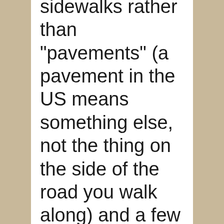sidewalks rather than "pavements" (a pavement in the US means something else, not the thing on the side of the road you walk along) and a few things like that. If you read the Hodder Headline UK edition of Neverwhere while listening to the audio recording you may